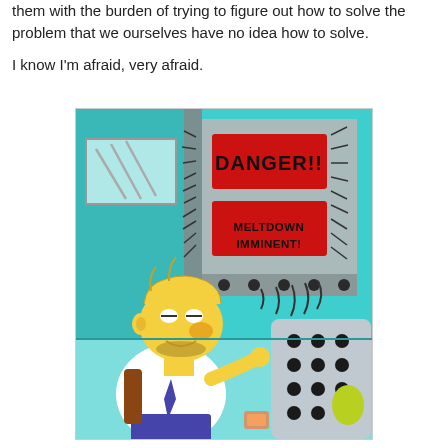them with the burden of trying to figure out how to solve the problem that we ourselves have no idea how to solve.

I know I'm afraid, very afraid.
[Figure (illustration): Cartoon illustration of Homer Simpson at a nuclear power plant control panel. Warning signs in red read 'DANGER!!' and 'MELTDOWN IMMINENT!' on a teal background. Homer appears relaxed/sleepy while a machine with buttons emits heat waves.]